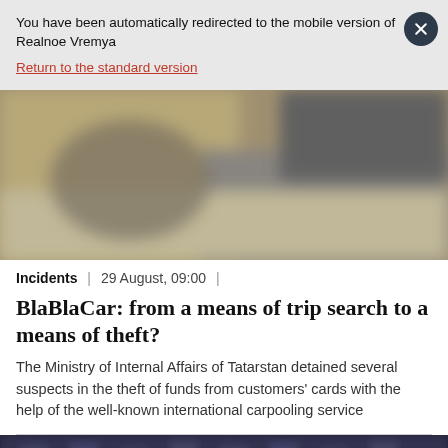You have been automatically redirected to the mobile version of Realnoe Vremya
Return to the standard version
[Figure (photo): Blurred outdoor photo of a road or pavement scene]
Incidents | 29 August, 09:00 |
BlaBlaCar: from a means of trip search to a means of theft?
The Ministry of Internal Affairs of Tatarstan detained several suspects in the theft of funds from customers' cards with the help of the well-known international carpooling service
[Figure (photo): Blurred photo of what appears to be a building interior with columns]